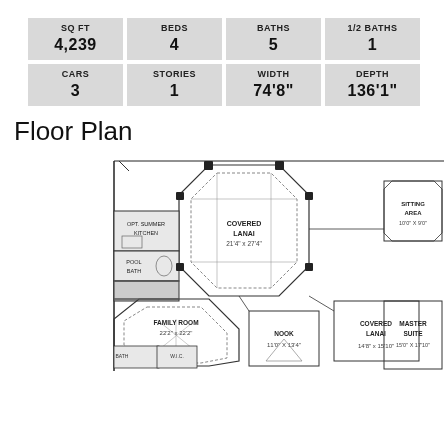| SQ FT | BEDS | BATHS | 1/2 BATHS |
| --- | --- | --- | --- |
| 4,239 | 4 | 5 | 1 |
| CARS | STORIES | WIDTH | DEPTH |
| 3 | 1 | 74'8" | 136'1" |
Floor Plan
[Figure (engineering-diagram): Architectural floor plan showing covered lanai (21'4" x 27'4"), family room (22'2" x 22'2"), nook (11'0" x 13'4"), covered lanai (14'8" x 15'10"), master suite (15'0" x 17'10"), sitting area (10'0" x 9'0"), pool bath, and optional summer kitchen.]